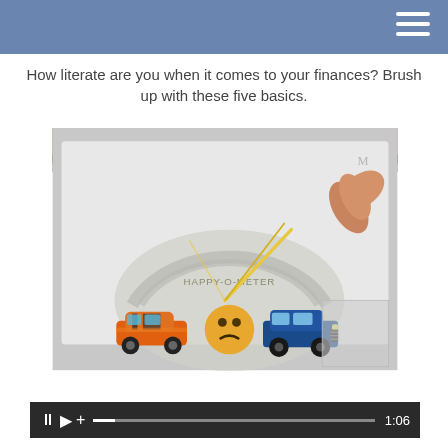How literate are you when it comes to your finances? Brush up with these five basics.
[Figure (screenshot): A video thumbnail showing a tablet screen with a 'Happy-O-Meter' gauge and cartoon cars and a smiley face emoji, with someone's finger pressing the screen. Video controls at the bottom show pause, play, plus icons and a timeline bar with 1:06 duration.]